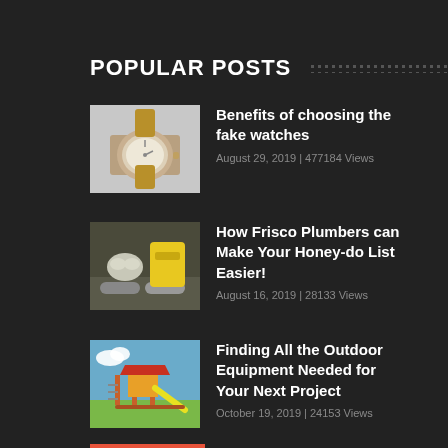POPULAR POSTS
[Figure (photo): Thumbnail of a gold/rose watch]
Benefits of choosing the fake watches
August 29, 2019 | 477184 Views
[Figure (photo): Thumbnail of plumbing tools and pipes]
How Frisco Plumbers can Make Your Honey-do List Easier!
August 16, 2019 | 28133 Views
[Figure (photo): Thumbnail of an outdoor playground structure]
Finding All the Outdoor Equipment Needed for Your Next Project
October 19, 2019 | 24153 Views
LOGIN
USERNAME